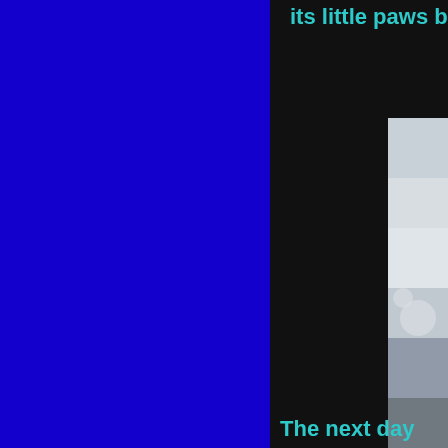its little paws b
[Figure (photo): Partial view of a small animal (likely a hamster or mouse) with flowers/blossoms, cropped at the right edge of the page, spanning vertically through the middle section]
The next day